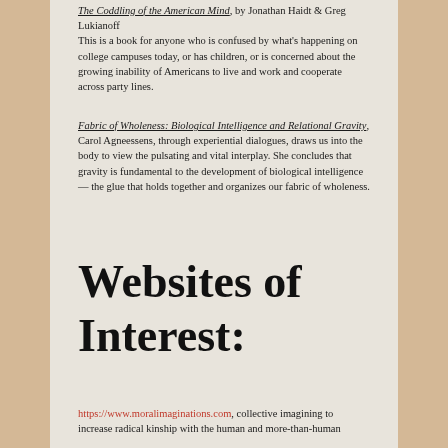The Coddling of the American Mind, by Jonathan Haidt & Greg Lukianoff
This is a book for anyone who is confused by what's happening on college campuses today, or has children, or is concerned about the growing inability of Americans to live and work and cooperate across party lines.
Fabric of Wholeness: Biological Intelligence and Relational Gravity, Carol Agneessens, through experiential dialogues, draws us into the body to view the pulsating and vital interplay. She concludes that gravity is fundamental to the development of biological intelligence — the glue that holds together and organizes our fabric of wholeness.
Websites of Interest:
https://www.moralimaginations.com, collective imagining to increase radical kinship with the human and more-than-human